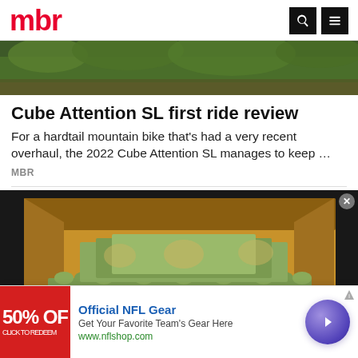mbr
[Figure (photo): Forest trail with green foliage and dirt path — hero image for article]
Cube Attention SL first ride review
For a hardtail mountain bike that's had a very recent overhaul, the 2022 Cube Attention SL manages to keep …
MBR
[Figure (photo): Cardboard box containing rolled and stacked US dollar bills/cash]
[Figure (screenshot): Advertisement banner: Official NFL Gear — Get Your Favorite Team's Gear Here, www.nflshop.com, with red 50% OFF thumbnail and blue circular arrow button]